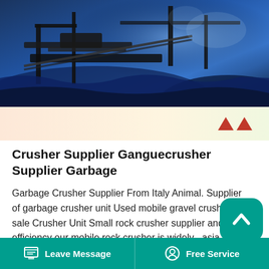[Figure (photo): Industrial mining/crushing equipment photographed from above, showing machinery, conveyor belts against blue-toned rocky terrain background]
Crusher Supplier Ganguecrusher Supplier Garbage
Garbage Crusher Supplier From Italy Animal. Supplier of garbage crusher unit Used mobile gravel crusher for sale Crusher Unit Small rock crusher supplier and high efficiency our mobile rock crusher is widely . asia construction waste disposal jaw crusher supplier See . crusher supplier ganguecrusher supplier garbage. Get Quote.
Crusher Supplier Ganguecrusher Supplier Garbage. How Much Can Gold Rush Men Make Expenses...
Leave Message   Free Service